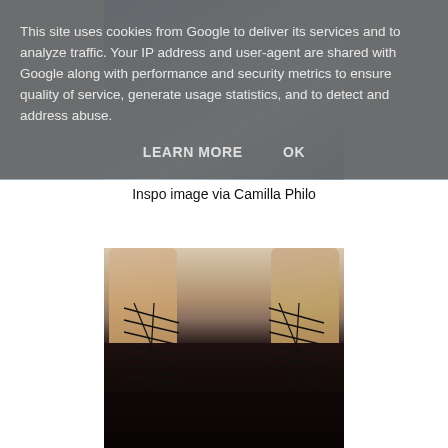[Figure (photo): Top portion of a photo showing a person, partially visible, with blue/denim clothing. The image is mostly obscured by the cookie consent overlay.]
This site uses cookies from Google to deliver its services and to analyze traffic. Your IP address and user-agent are shared with Google along with performance and security metrics to ensure quality of service, generate usage statistics, and to detect and address abuse.
LEARN MORE    OK
Inspo image via Camilla Philo
[Figure (photo): Close-up photo of a pair of feet wearing black lace-up gladiator flat sandals with criss-cross lacing up the ankles. The shoes appear to have studded detailing.]